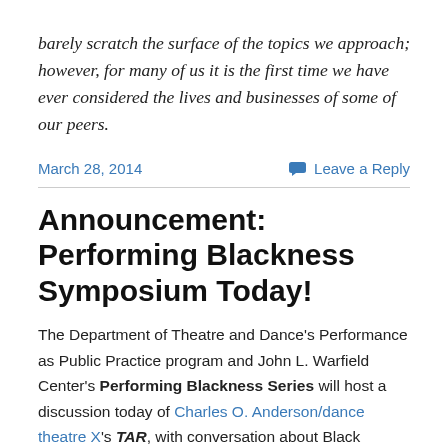barely scratch the surface of the topics we approach; however, for many of us it is the first time we have ever considered the lives and businesses of some of our peers.
March 28, 2014    Leave a Reply
Announcement: Performing Blackness Symposium Today!
The Department of Theatre and Dance's Performance as Public Practice program and John L. Warfield Center's Performing Blackness Series will host a discussion today of Charles O. Anderson/dance theatre X's TAR, with conversation about Black dance, producing Black art, and the role of art in generating social change. The symposium